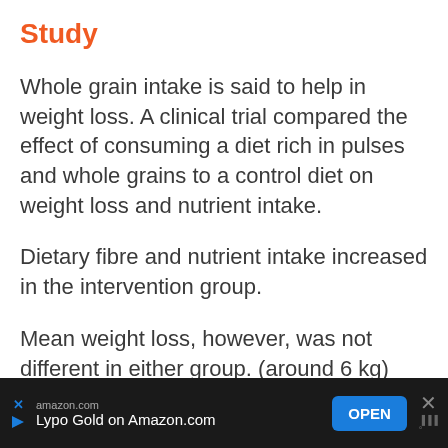Study
Whole grain intake is said to help in weight loss. A clinical trial compared the effect of consuming a diet rich in pulses and whole grains to a control diet on weight loss and nutrient intake.
Dietary fibre and nutrient intake increased in the intervention group.
Mean weight loss, however, was not different in either group. (around 6 kg) Waist circumference decreased in the intervention gro…